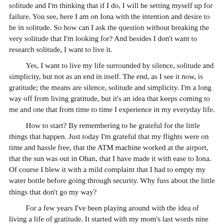solitude and I'm thinking that if I do, I will be setting myself up for failure. You see, here I am on Iona with the intention and desire to be in solitude. So how can I ask the question without breaking the very solitude that I'm looking for? And besides I don't want to research solitude, I want to live it.
Yes, I want to live my life surrounded by silence, solitude and simplicity, but not as an end in itself. The end, as I see it now, is gratitude; the means are silence, solitude and simplicity. I'm a long way off from living gratitude, but it's an idea that keeps coming to me and one that from time to time I experience in my everyday life.
How to start? By remembering to be grateful for the little things that happen. Just today I'm grateful that my flights were on time and hassle free, that the ATM machine worked at the airport, that the sun was out in Oban, that I have made it with ease to Iona. Of course I blew it with a mild complaint that I had to empty my water bottle before going through security. Why fuss about the little things that don't go my way?
For a few years I've been playing around with the idea of living a life of gratitude. It started with my mom's last words nine days before